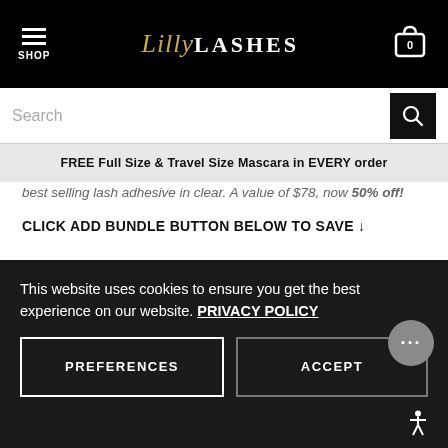SHOP | Lilly LASHES | [cart icon]
Search
FREE Full Size & Travel Size Mascara in EVERY order
best selling lash adhesive in clear. A value of $78, now 50% off!
CLICK ADD BUNDLE BUTTON BELOW TO SAVE ↓
The Wedding Lash + Happy Wife, Happy Life + Clear Lash Adhesive: ONLY $39 ($78 Value)
This website uses cookies to ensure you get the best experience on our website. PRIVACY POLICY
PREFERENCES
ACCEPT